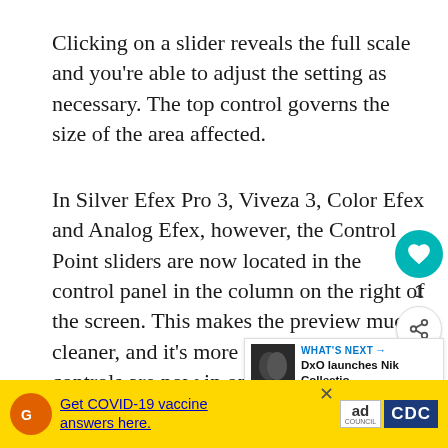Clicking on a slider reveals the full scale and you’re able to adjust the setting as necessary. The top control governs the size of the area affected.
In Silver Efex Pro 3, Viveza 3, Color Efex and Analog Efex, however, the Control Point sliders are now located in the control panel in the column on the right of the screen. This makes the preview much cleaner, and it’s more logical, as all the controls are now in one place.
It’s also possible to target the adjustment using the luminance and chrominance sliders
[Figure (other): WHAT'S NEXT arrow label with DxO launches Nik Collectio... thumbnail card on right side]
[Figure (other): COVID-19 vaccine ad banner at bottom with Ad Council and CDC logos on yellow background]